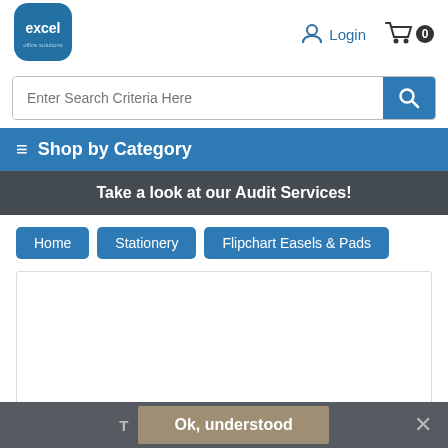[Figure (logo): Excel logo - blue rounded square with text 'excel']
Login
0
Enter Search Criteria Here
≡ Shop by Category
Take a look at our Audit Services!
Home
Stationery
Flipchart Easels & Pads
Ok, understood